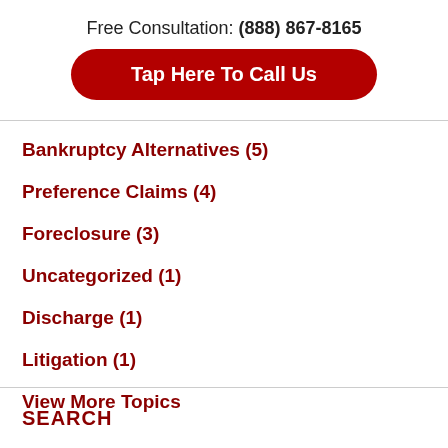Free Consultation: (888) 867-8165
[Figure (other): Red rounded button labeled 'Tap Here To Call Us']
Bankruptcy Alternatives (5)
Preference Claims (4)
Foreclosure (3)
Uncategorized (1)
Discharge (1)
Litigation (1)
View More Topics
SEARCH